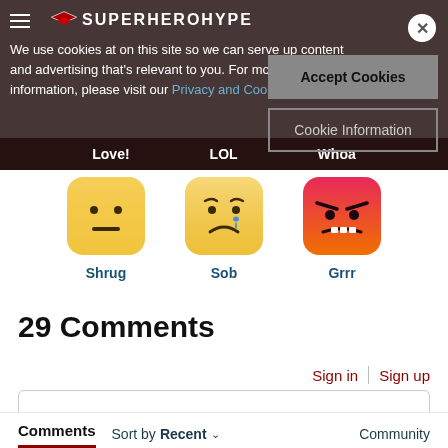SuperHeroHype
We use cookies at on this site so we can serve up content and advertising that's relevant to you. For more information, please visit our Privacy and Cookie Policy
Accept Cookies
Cookie Information
Love!   LOL   Whoa
[Figure (illustration): Shrug emoji - yellow rounded square face with neutral expression (straight line mouth)]
Shrug
[Figure (illustration): Sob emoji - yellow rounded square face with crying tear drop expression]
Sob
[Figure (illustration): Grrr emoji - red/pink gradient rounded square face with angry expression]
Grrr
29 Comments
Sign in   Sign up
Leave a comment
Comments   Sort by Recent   Community